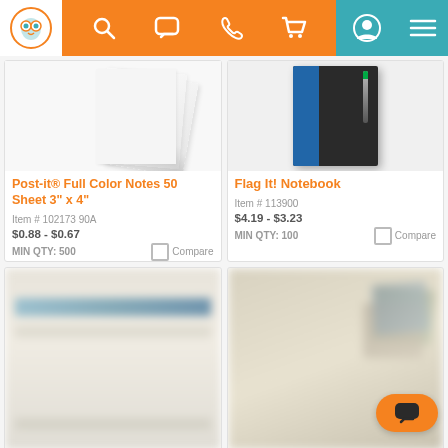[Figure (screenshot): Website header with owl logo, orange navigation bar with search, chat, phone, cart icons, and teal account/menu area]
Post-it® Full Color Notes 50 Sheet 3" x 4"
Item # 102173 90A
$0.88 - $0.67
MIN QTY: 500
Compare
Flag It! Notebook
Item # 113900
$4.19 - $3.23
MIN QTY: 100
Compare
[Figure (screenshot): Blurred product image in lower left card]
[Figure (screenshot): Blurred product image in lower right card]